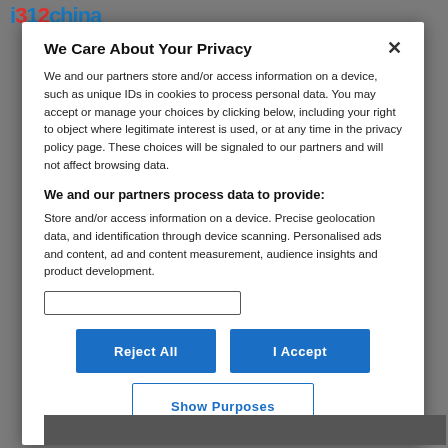[Figure (screenshot): Website logo bar showing '1312china' style logo in blue]
We Care About Your Privacy
We and our partners store and/or access information on a device, such as unique IDs in cookies to process personal data. You may accept or manage your choices by clicking below, including your right to object where legitimate interest is used, or at any time in the privacy policy page. These choices will be signaled to our partners and will not affect browsing data.
We and our partners process data to provide:
Store and/or access information on a device. Precise geolocation data, and identification through device scanning. Personalised ads and content, ad and content measurement, audience insights and product development.
[input box]
Reject All | I Accept
Show Purposes